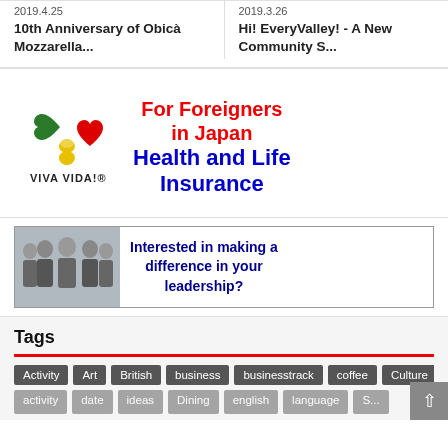2019.4.25
10th Anniversary of Obicà Mozzarella...
2019.3.26
Hi! EveryValley! - A New Community S...
[Figure (logo): VIVA VIDA logo with colorful heart clover shape and text 'For Foreigners in Japan Health and Life Insurance']
[Figure (photo): Group of business professionals with text 'Interested in making a difference in your leadership?']
Tags
Activity
Art
British
business
businesstrack
coffee
Culture